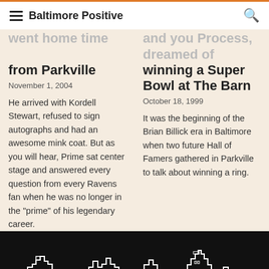Baltimore Positive
went home time from Parkville
November 1, 2004
He arrived with Kordell Stewart, refused to sign autographs and had an awesome mink coat. But as you will hear, Prime sat center stage and answered every question from every Ravens fan when he was no longer in the "prime" of his legendary career.
and you Process, dreamed of winning a Super Bowl at The Barn
October 18, 1999
It was the beginning of the Brian Billick era in Baltimore when two future Hall of Famers gathered in Parkville to talk about winning a ring.
[Figure (illustration): Baltimore city skyline outline illustration in white on black background, with partial text 'BALTIMORE' visible at bottom]